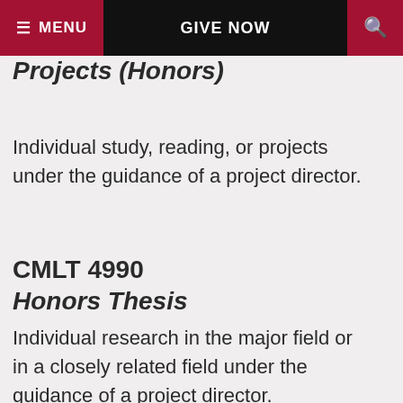≡ MENU   GIVE NOW   🔍
Projects (Honors)
Individual study, reading, or projects under the guidance of a project director.
CMLT 4990 Honors Thesis
Individual research in the major field or in a closely related field under the guidance of a project director.